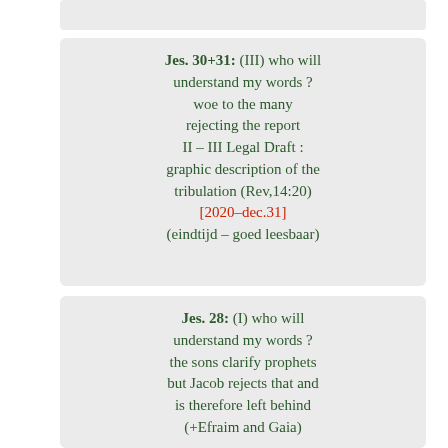(partial card at top — clipped)
Jes. 30+31: (III) who will understand my words ? woe to the many rejecting the report II – III Legal Draft : graphic description of the tribulation (Rev,14:20) [2020–dec.31] (eindtijd – goed leesbaar)
Jes. 28: (I) who will understand my words ? the sons clarify prophets but Jacob rejects that and is therefore left behind (+Efraim and Gaia)